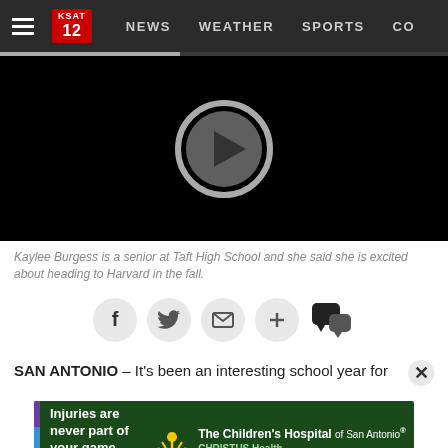KSAT 12 — NEWS  WEATHER  SPORTS  CO
[Figure (screenshot): Black video player with circular play button (gray circle with triangle arrow) centered in the frame]
Kaylee Burgess is a senior at Taft High School and she said she is excited about heading to Harvard in the fall.
[Figure (infographic): Social sharing icons row: Facebook (f), Twitter (bird), Email (envelope), Plus (+), Comments (speech bubble)]
SAN ANTONIO – It's been an interesting school year for
[Figure (infographic): Advertisement banner: 'Injuries are never part of your game plan.' — The Children's Hospital of San Antonio, CHRISTUS Health]